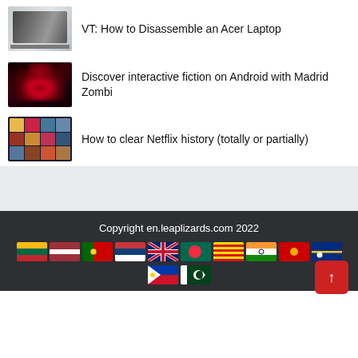VT: How to Disassemble an Acer Laptop
Discover interactive fiction on Android with Madrid Zombi
How to clear Netflix history (totally or partially)
[Figure (other): Gray separator section between content and footer]
Copyright en.leaplizards.com 2022
[Figure (other): Row of country flags: Lithuania, Latvia, Portugal, Serbia, UK, Bangladesh, Catalonia, India, Portugal, Nauru]
[Figure (other): Second row of flags: Philippines, Pakistan; back-to-top red button with arrow]